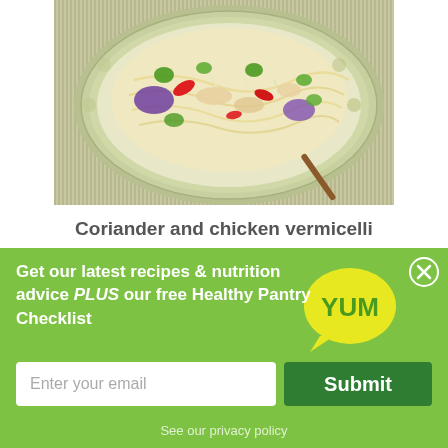[Figure (photo): A plate of coriander and chicken vermicelli salad with colorful vegetables on a decorative green plate]
Coriander and chicken vermicelli
Get our latest recipes & nutrition advice PLUS our free Healthy Pantry Checklist
Enter your email
Submit
See our privacy policy